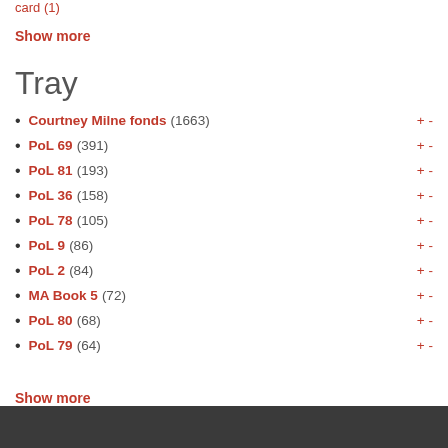card (1)
Show more
Tray
Courtney Milne fonds (1663) + -
PoL 69 (391) + -
PoL 81 (193) + -
PoL 36 (158) + -
PoL 78 (105) + -
PoL 9 (86) + -
PoL 2 (84) + -
MA Book 5 (72) + -
PoL 80 (68) + -
PoL 79 (64) + -
Show more